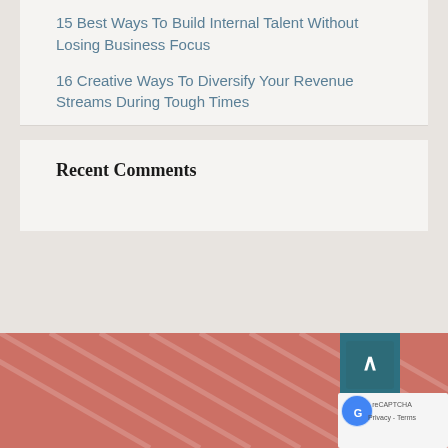15 Best Ways To Build Internal Talent Without Losing Business Focus
16 Creative Ways To Diversify Your Revenue Streams During Tough Times
Recent Comments
[Figure (other): Salmon/terracotta colored footer area with diagonal line pattern and a teal scroll-to-top button and reCAPTCHA badge]
Privacy · Terms